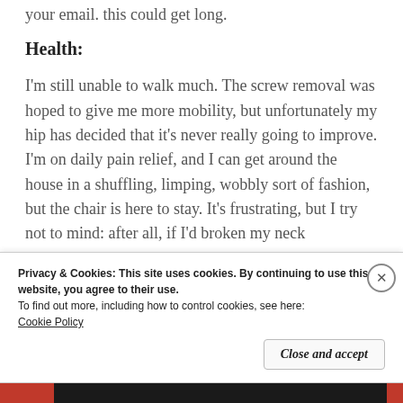your email. this could get long.
Health:
I'm still unable to walk much. The screw removal was hoped to give me more mobility, but unfortunately my hip has decided that it's never really going to improve. I'm on daily pain relief, and I can get around the house in a shuffling, limping, wobbly sort of fashion, but the chair is here to stay. It's frustrating, but I try not to mind: after all, if I'd broken my neck
Privacy & Cookies: This site uses cookies. By continuing to use this website, you agree to their use.
To find out more, including how to control cookies, see here: Cookie Policy
Close and accept